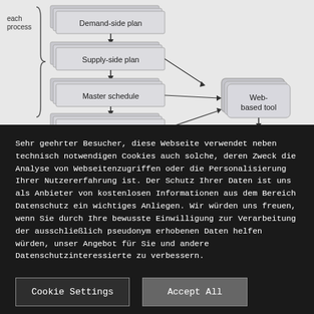[Figure (flowchart): A flowchart showing a planning process with stacked 3D boxes: Demand-side plan, Supply-side plan, Master schedule, Materials plan — connected sequentially with arrows, and arrows pointing right to a 'Web-based tool' box. A brace on the left indicates 'process'.]
Sehr geehrter Besucher, diese Webseite verwendet neben technisch notwendigen Cookies auch solche, deren Zweck die Analyse von Webseitenzugriffen oder die Personalisierung Ihrer Nutzererfahrung ist. Der Schutz Ihrer Daten ist uns als Anbieter von kostenlosen Informationen aus dem Bereich Datenschutz ein wichtiges Anliegen. Wir würden uns freuen, wenn Sie durch Ihre bewusste Einwilligung zur Verarbeitung der ausschließlich pseudonym erhobenen Daten helfen würden, unser Angebot für Sie und andere Datenschutzinteressierte zu verbessern.
Cookie Settings
Accept All